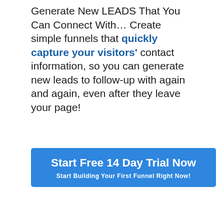Generate New LEADS That You Can Connect With… Create simple funnels that quickly capture your visitors' contact information, so you can generate new leads to follow-up with again and again, even after they leave your page!
[Figure (screenshot): Blue CTA button with text 'Start Free 14 Day Trial Now' and subtitle 'Start Building Your First Funnel Right Now!']
This website stores data such as cookies to enable essential site functionality, as well as marketing, personalization, and analytics. By remaining on this website you indicate your consent.
Data Storage Policy